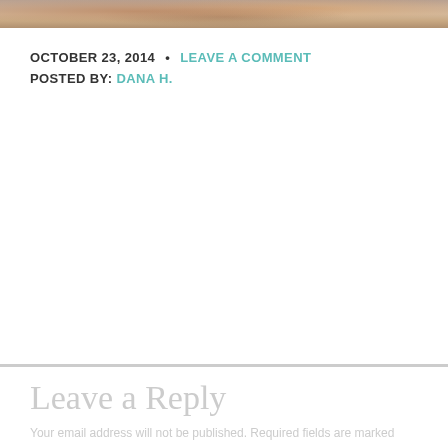[Figure (photo): Partial photograph strip at top of page showing food or nature scene with warm brown and orange tones]
OCTOBER 23, 2014 • LEAVE A COMMENT
POSTED BY: DANA H.
Leave a Reply
Your email address will not be published. Required fields are marked